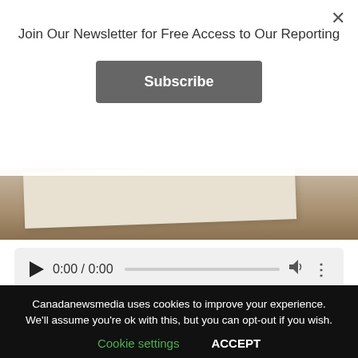Join Our Newsletter for Free Access to Our Reporting
Subscribe
[Figure (photo): Background photo showing paper or envelope in muted brown/beige tones]
[Figure (screenshot): Audio player UI showing 0:00 / 0:00 with play button, progress bar, volume and more icons]
Halifax, NS – Halifax tenant, Stacey Gomez, is fighting to keep her home for close to 5 years amid an attempted
Canadanewsmedia uses cookies to improve your experience. We'll assume you're ok with this, but you can opt-out if you wish.
Cookie settings   ACCEPT